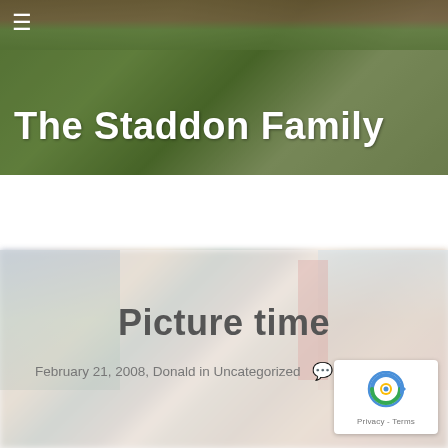[Figure (photo): Header photo showing a grassy lawn with brick wall/steps and blue structural elements in the background, serving as the blog header image.]
The Staddon Family
[Figure (photo): Blurred indoor scene with colorful flags/banners and people, serving as the post hero background image.]
Picture time
February 21, 2008, Donald in Uncategorized  💬 5 Comments
[Figure (logo): reCAPTCHA badge with Google reCAPTCHA logo and Privacy - Terms text]